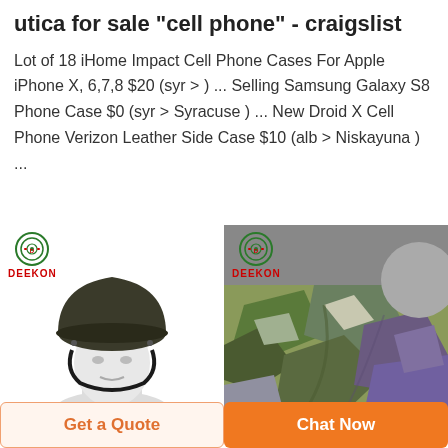utica for sale "cell phone" - craigslist
Lot of 18 iHome Impact Cell Phone Cases For Apple iPhone X, 6,7,8 $20 (syr > ) ... Selling Samsung Galaxy S8 Phone Case $0 (syr > Syracuse ) ... New Droid X Cell Phone Verizon Leather Side Case $10 (alb > Niskayuna ) ...
[Figure (photo): A mannequin head wearing a dark green military-style helmet, with DEEKON logo at top left.]
[Figure (photo): Camouflage fabric in green, purple, and pale colors with a grey circle in the upper right. DEEKON logo at top left.]
Get a Quote
Chat Now